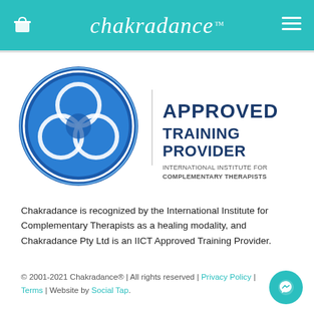chakradance
[Figure (logo): IICT Approved Training Provider badge — circular blue logo with interlocking loops on left, text 'APPROVED TRAINING PROVIDER / INTERNATIONAL INSTITUTE FOR COMPLEMENTARY THERAPISTS' on right]
Chakradance is recognized by the International Institute for Complementary Therapists as a healing modality, and Chakradance Pty Ltd is an IICT Approved Training Provider.
© 2001-2021 Chakradance® | All rights reserved | Privacy Policy | Terms | Website by Social Tap.